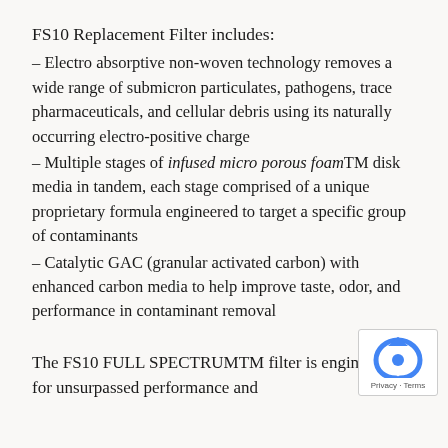FS10 Replacement Filter includes:
– Electro absorptive non-woven technology removes a wide range of submicron particulates, pathogens, trace pharmaceuticals, and cellular debris using its naturally occurring electro-positive charge
– Multiple stages of infused micro porous foamTM disk media in tandem, each stage comprised of a unique proprietary formula engineered to target a specific group of contaminants
– Catalytic GAC (granular activated carbon) with enhanced carbon media to help improve taste, odor, and performance in contaminant removal
The FS10 FULL SPECTRUMTM filter is engineered for unsurpassed performance and